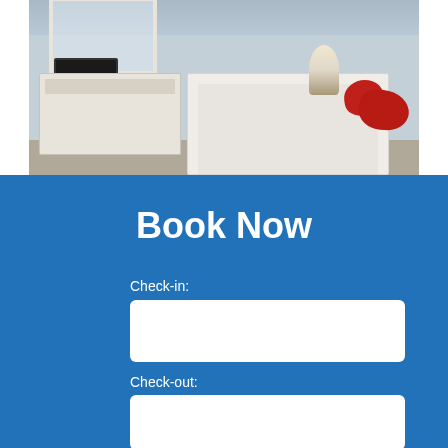[Figure (photo): Hotel bedroom photo showing two beds with white and red pillows/accents, white dresser with TV and mirror, lamp, and blue-gray walls]
Book Now
Check-in:
Check-out:
Guests